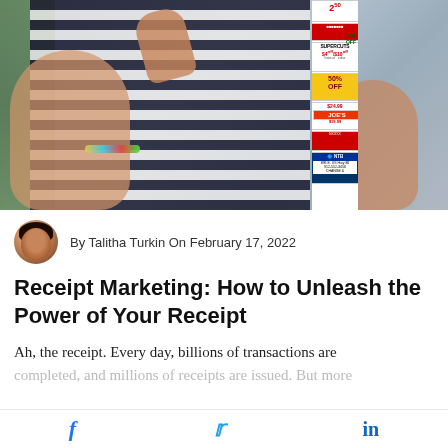[Figure (photo): Person in a navy and white striped shirt holding up a long receipt strip covered in coupons and ads, including Supercuts, Joe's, NTB, and various discount offers.]
By Talitha Turkin On February 17, 2022
Receipt Marketing: How to Unleash the Power of Your Receipt
Ah, the receipt. Every day, billions of transactions are completed, and millions of receipts are issued. But more...